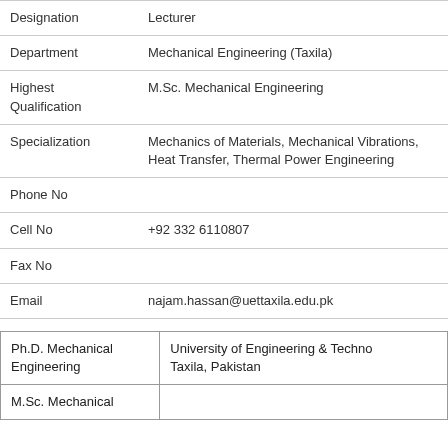| Field | Value |
| --- | --- |
| Designation | Lecturer |
| Department | Mechanical Engineering (Taxila) |
| Highest Qualification | M.Sc. Mechanical Engineering |
| Specialization | Mechanics of Materials, Mechanical Vibrations, Heat Transfer, Thermal Power Engineering |
| Phone No |  |
| Cell No | +92 332 6110807 |
| Fax No |  |
| Email | najam.hassan@uettaxila.edu.pk |
| Degree | Institution |
| --- | --- |
| Ph.D. Mechanical Engineering | University of Engineering & Technology, Taxila, Pakistan |
| M.Sc. Mechanical |  |